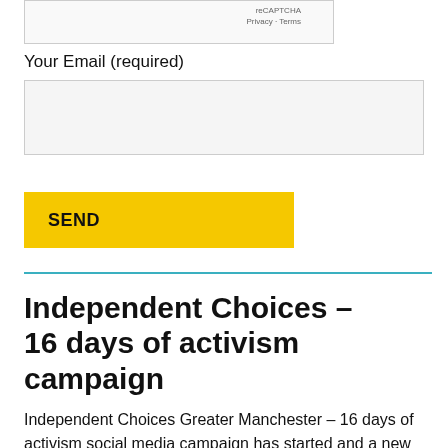[Figure (screenshot): reCAPTCHA widget box showing 'reCAPTCHA' text with 'Privacy - Terms' links]
Your Email (required)
[Figure (screenshot): Email input form field, empty, light gray background]
SEND
Independent Choices – 16 days of activism campaign
Independent Choices Greater Manchester – 16 days of activism social media campaign has started and a new